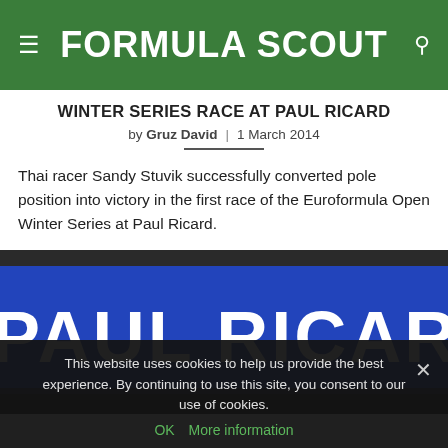FORMULA SCOUT
WINTER SERIES RACE AT PAUL RICARD
by Gruz David | 1 March 2014
Thai racer Sandy Stuvik successfully converted pole position into victory in the first race of the Euroformula Open Winter Series at Paul Ricard.
[Figure (photo): Photo of the Paul Ricard circuit signage — a large blue sign with white bold text reading 'PAUL RICARD']
This website uses cookies to help us provide the best experience. By continuing to use this site, you consent to our use of cookies. OK  More information